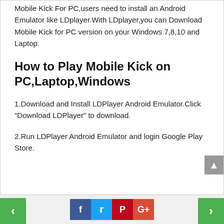Mobile Kick For PC,users need to install an Android Emulator like LDplayer.With LDplayer,you can Download Mobile Kick for PC version on your Windows 7,8,10 and Laptop.
How to Play Mobile Kick on PC,Laptop,Windows
1.Download and Install LDPlayer Android Emulator.Click "Download LDPlayer" to download.
2.Run LDPlayer Android Emulator and login Google Play Store.
[Figure (infographic): Social media share buttons: Facebook, Twitter, Pinterest, Google+, with green navigation arrows on left and right]